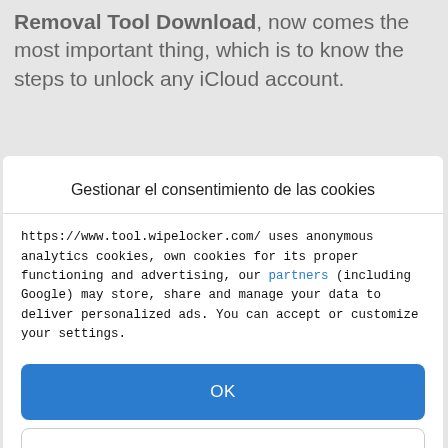Removal Tool Download, now comes the most important thing, which is to know the steps to unlock any iCloud account.
Gestionar el consentimiento de las cookies
https://www.tool.wipelocker.com/ uses anonymous analytics cookies, own cookies for its proper functioning and advertising, our partners (including Google) may store, share and manage your data to deliver personalized ads. You can accept or customize your settings.
OK
VER PREFERENCIAS
Política de cookies  Declaración de privacidad  Impressum